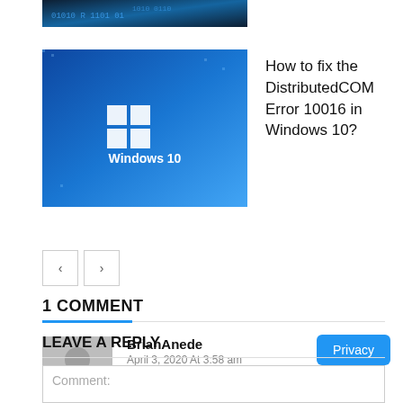[Figure (screenshot): Partial thumbnail image at top of page (dark blue background with code/text pattern)]
[Figure (screenshot): Windows 10 logo thumbnail image with blue background]
How to fix the DistributedCOM Error 10016 in Windows 10?
‹  ›  navigation buttons
1 COMMENT
BrianAnede
April 3, 2020 At 3:58 am
Wow, attractive website. Thnx …
Reply
LEAVE A REPLY
Comment: